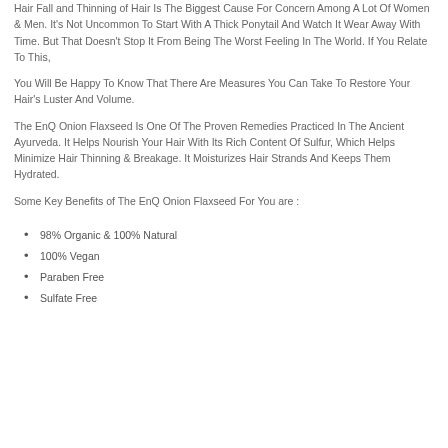Hair Fall and Thinning of Hair Is The Biggest Cause For Concern Among A Lot Of Women & Men. It's Not Uncommon To Start With A Thick Ponytail And Watch It Wear Away With Time. But That Doesn't Stop It From Being The Worst Feeling In The World. If You Relate To This,
You Will Be Happy To Know That There Are Measures You Can Take To Restore Your Hair's Luster And Volume.
The EnQ Onion Flaxseed Is One Of The Proven Remedies Practiced In The Ancient Ayurveda. It Helps Nourish Your Hair With Its Rich Content Of Sulfur, Which Helps Minimize Hair Thinning & Breakage. It Moisturizes Hair Strands And Keeps Them Hydrated.
Some Key Benefits of The EnQ Onion Flaxseed For You are :
98% Organic & 100% Natural
100% Vegan
Paraben Free
Sulfate Free